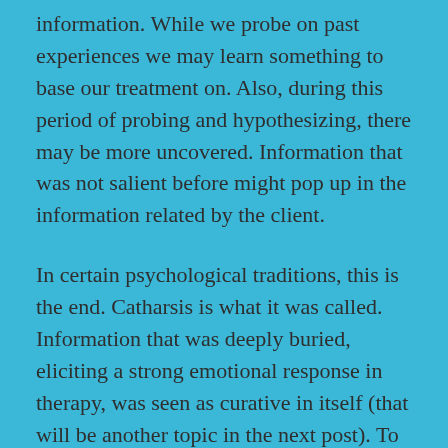information. While we probe on past experiences we may learn something to base our treatment on. Also, during this period of probing and hypothesizing, there may be more uncovered. Information that was not salient before might pop up in the information related by the client.
In certain psychological traditions, this is the end. Catharsis is what it was called. Information that was deeply buried, eliciting a strong emotional response in therapy, was seen as curative in itself (that will be another topic in the next post). To many, it does feel that way. It feels like a relief. In behavior analysis, however, we try to take it a step further. The uncovering of a past trigger, or antecedent, is valuable.